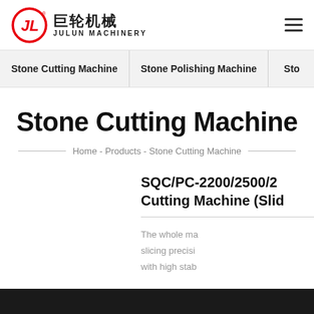[Figure (logo): Julun Machinery logo — red circular JL emblem with Chinese characters 巨轮机械 and text JULUN MACHINERY]
Stone Cutting Machine | Stone Polishing Machine | Sto...
Stone Cutting Machine
Home - Products - Stone Cutting Machine
SQC/PC-2200/2500/2... Cutting Machine (Slid...
The whole ma... slicing precisi... with high stab...